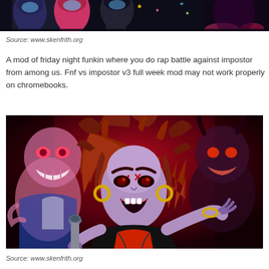[Figure (illustration): Partial view of Friday Night Funkin characters including impostors from Among Us, cropped at top of page showing colorful cartoon game characters on dark background]
Source: www.skenfrith.org
A mod of friday night funkin where you do rap battle against impostor from among us. Fnf vs impostor v3 full week mod may not work properly on chromebooks.
[Figure (illustration): Illustration of a female villain character with wild red-brown hair, purple face with red X markings, gold hoop earrings, holding a microphone, wearing a black jacket. She stands in front of a red background with shadowy monster figures including a pink creature on the left and a dark figure on the right.]
Source: www.skenfrith.org